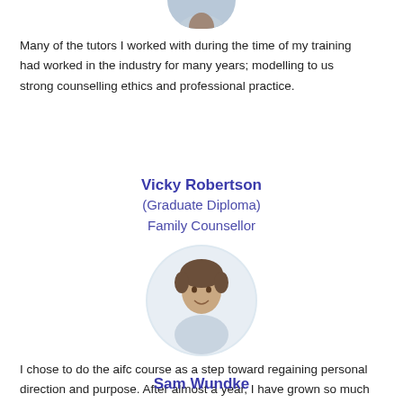[Figure (photo): Circular cropped photo of a person, partially visible at the top of the page]
Many of the tutors I worked with during the time of my training had worked in the industry for many years; modelling to us strong counselling ethics and professional practice.
Vicky Robertson
(Graduate Diploma)
Family Counsellor
[Figure (photo): Circular cropped photo of a smiling young man]
I chose to do the aifc course as a step toward regaining personal direction and purpose. After almost a year, I have grown so much both on a personal level and in my relationships.
Sam Wundke